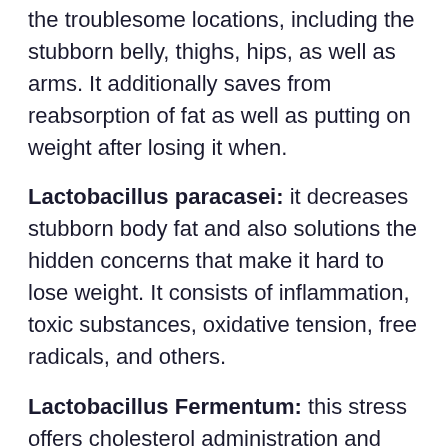the troublesome locations, including the stubborn belly, thighs, hips, as well as arms. It additionally saves from reabsorption of fat as well as putting on weight after losing it when.
Lactobacillus paracasei: it decreases stubborn body fat and also solutions the hidden concerns that make it hard to lose weight. It consists of inflammation, toxic substances, oxidative tension, free radicals, and others.
Lactobacillus Fermentum: this stress offers cholesterol administration and also immunological benefits, straight influencing digestive wellness. It additionally saves from respiratory system infections and kidney as well as liver illness.